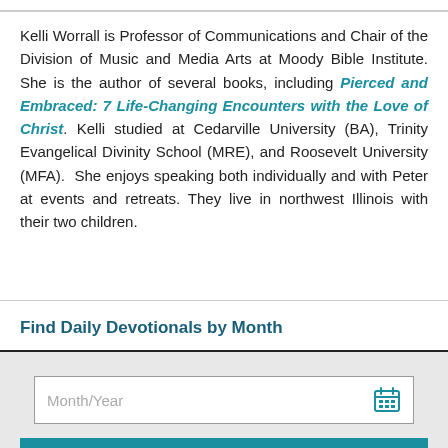Kelli Worrall is Professor of Communications and Chair of the Division of Music and Media Arts at Moody Bible Institute. She is the author of several books, including Pierced and Embraced: 7 Life-Changing Encounters with the Love of Christ. Kelli studied at Cedarville University (BA), Trinity Evangelical Divinity School (MRE), and Roosevelt University (MFA).  She enjoys speaking both individually and with Peter at events and retreats. They live in northwest Illinois with their two children.
Find Daily Devotionals by Month